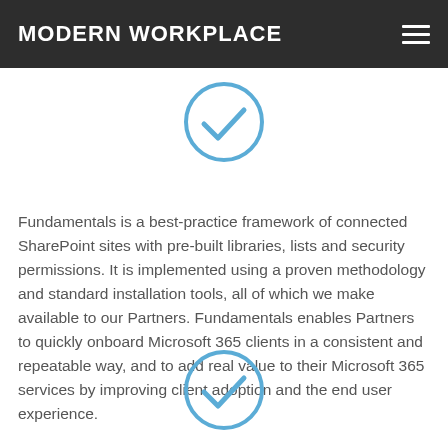MODERN WORKPLACE
[Figure (illustration): Blue circle with a checkmark inside (top)]
Fundamentals is a best-practice framework of connected SharePoint sites with pre-built libraries, lists and security permissions. It is implemented using a proven methodology and standard installation tools, all of which we make available to our Partners. Fundamentals enables Partners to quickly onboard Microsoft 365 clients in a consistent and repeatable way, and to add real value to their Microsoft 365 services by improving client adoption and the end user experience.
[Figure (illustration): Blue circle with a checkmark inside (bottom)]